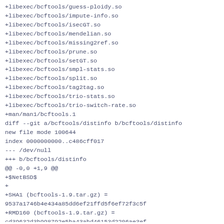+libexec/bcftools/guess-ploidy.so
+libexec/bcftools/impute-info.so
+libexec/bcftools/isecGT.so
+libexec/bcftools/mendelian.so
+libexec/bcftools/missing2ref.so
+libexec/bcftools/prune.so
+libexec/bcftools/setGT.so
+libexec/bcftools/smpl-stats.so
+libexec/bcftools/split.so
+libexec/bcftools/tag2tag.so
+libexec/bcftools/trio-stats.so
+libexec/bcftools/trio-switch-rate.so
+man/man1/bcftools.1
diff --git a/bcftools/distinfo b/bcftools/distinfo
new file mode 100644
index 0000000000..c486cff017
--- /dev/null
+++ b/bcftools/distinfo
@@ -0,0 +1,9 @@
+$NetBSD$
+
+SHA1 (bcftools-1.9.tar.gz) =
9537a1746b4e434a85dd6ef21ffd5f6ef72f3c5f
+RMD160 (bcftools-1.9.tar.gz) =
cd39632d3b998792e5ba43abd46153d2206ae3ef
+SHA512 (bcftools-1.9.tar.gz) =
c7da82c78690789c53f4c07c6ac6436cc3eebc5d5df613cee30e9bb6
+Size (bcftools-1.9.tar.gz) = 2394968 bytes
+SHA1 (patch-Makefile) =
09eaeb4d4a422d1d450085cda0350cd874bd04dd